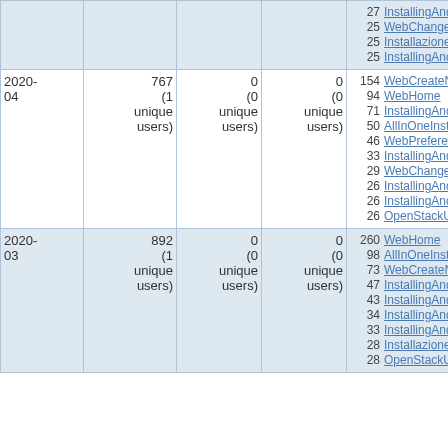| Date | Views | Edits | Contributors | Top pages |
| --- | --- | --- | --- | --- |
|  |  |  |  | 27 InstallingAnd...
25 WebChanges...
25 Installazione...
25 InstallingAnd... |
| 2020-04 | 767 (1 unique users) | 0 (0 unique users) | 0 (0 unique users) | 154 WebCreateN...
94 WebHome
71 InstallingAnd...
50 AllInOneInsta...
46 WebPreferer...
33 InstallingAnd...
29 WebChanges...
26 InstallingAnd...
26 InstallingAnd...
26 OpenStackU... |
| 2020-03 | 892 (1 unique users) | 0 (0 unique users) | 0 (0 unique users) | 260 WebHome
98 AllInOneInsta...
73 WebCreateN...
47 InstallingAnd...
43 InstallingAnd...
34 InstallingAnd...
33 InstallingAnd...
28 Installazione...
28 OpenStackU... |